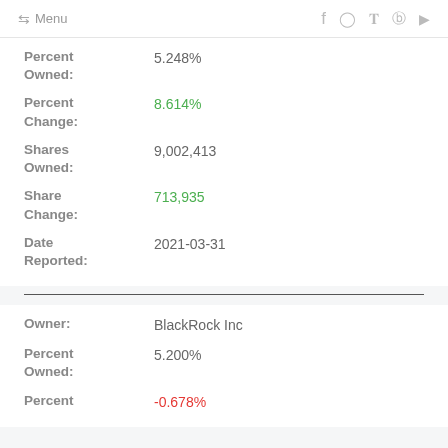← Menu  f  Instagram  Twitter  Pinterest  YouTube
Percent Owned: 5.248%
Percent Change: 8.614%
Shares Owned: 9,002,413
Share Change: 713,935
Date Reported: 2021-03-31
Owner: BlackRock Inc
Percent Owned: 5.200%
Percent Change: -0.678%